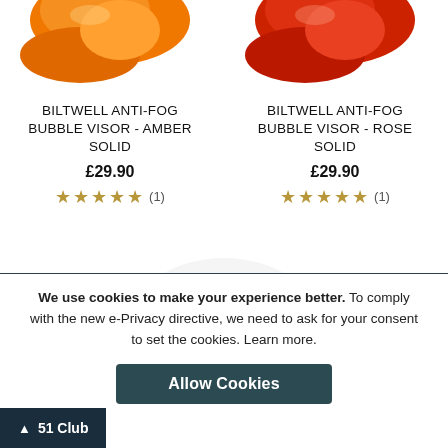[Figure (photo): Biltwell anti-fog bubble visor in amber/orange color, partial top view]
[Figure (photo): Biltwell anti-fog bubble visor in rose/red color, partial top view]
BILTWELL ANTI-FOG BUBBLE VISOR - AMBER SOLID
£29.90
★★★★★ (1)
BILTWELL ANTI-FOG BUBBLE VISOR - ROSE SOLID
£29.90
★★★★★ (1)
[Figure (photo): Biltwell anti-fog bubble visor in chrome/clear color, partial view]
We use cookies to make your experience better. To comply with the new e-Privacy directive, we need to ask for your consent to set the cookies. Learn more.
Allow Cookies
↑ 51 Club